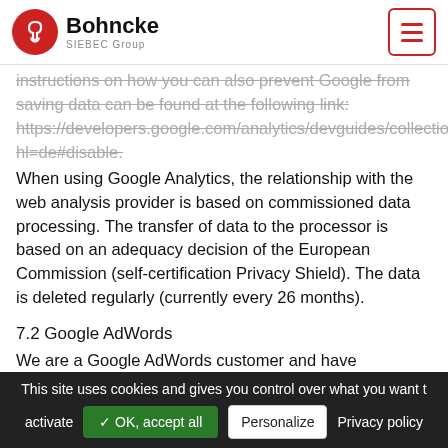Bohncke SIEBEC Group
instructions on how you can also prevent Google from saving data can be found at the following link: https://developers.google.com/analytics/devguides/collection/hl=de#disable. When using Google Analytics, the relationship with the web analysis provider is based on commissioned data processing. The transfer of data to the processor is based on an adequacy decision of the European Commission (self-certification Privacy Shield). The data is deleted regularly (currently every 26 months).
7.2 Google AdWords
We are a Google AdWords customer and have integrated "Google AdWords" on our website, we also use Google Conversion Tracking. This is an internet advertising service th...
This site uses cookies and gives you control over what you want to activate  ✓ OK, accept all  Personalize  Privacy policy